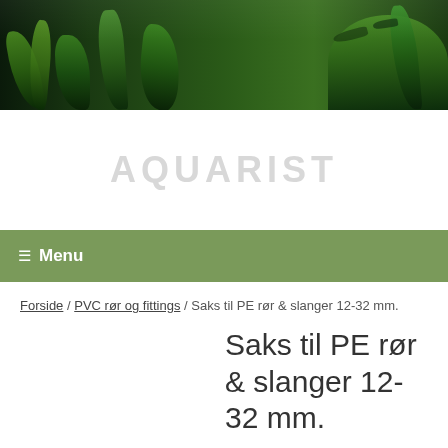[Figure (photo): Aquarium header image with green aquatic plants and fish visible against a dark background]
Menu
Forside / PVC rør og fittings / Saks til PE rør & slanger 12-32 mm.
Saks til PE rør & slanger 12-32 mm.
419,00 kr